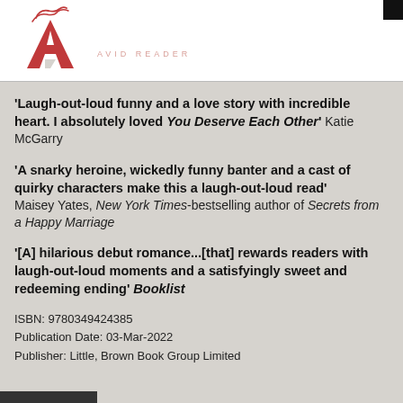[Figure (logo): Avid Reader logo with red stylized letter A and decorative swirl above, with text AVID READER to the right]
'Laugh-out-loud funny and a love story with incredible heart. I absolutely loved You Deserve Each Other' Katie McGarry
'A snarky heroine, wickedly funny banter and a cast of quirky characters make this a laugh-out-loud read' Maisey Yates, New York Times-bestselling author of Secrets from a Happy Marriage
'[A] hilarious debut romance...[that] rewards readers with laugh-out-loud moments and a satisfyingly sweet and redeeming ending' Booklist
ISBN: 9780349424385
Publication Date: 03-Mar-2022
Publisher: Little, Brown Book Group Limited